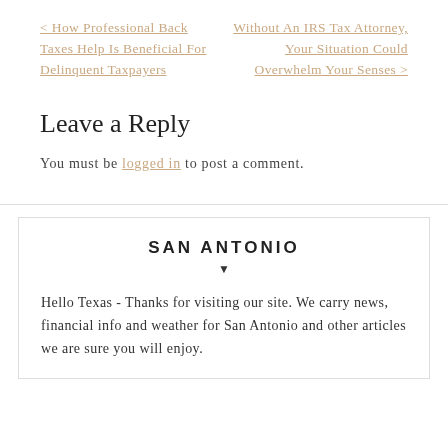< How Professional Back Taxes Help Is Beneficial For Delinquent Taxpayers
Without An IRS Tax Attorney, Your Situation Could Overwhelm Your Senses >
Leave a Reply
You must be logged in to post a comment.
SAN ANTONIO
Hello Texas - Thanks for visiting our site. We carry news, financial info and weather for San Antonio and other articles we are sure you will enjoy.